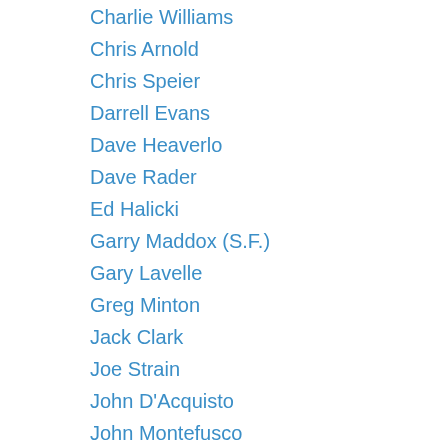Charlie Williams
Chris Arnold
Chris Speier
Darrell Evans
Dave Heaverlo
Dave Rader
Ed Halicki
Garry Maddox (S.F.)
Gary Lavelle
Greg Minton
Jack Clark
Joe Strain
John D'Acquisto
John Montefusco
Johnnie LeMaster
Marc Hill
Vic Harris
Seattle Mariners
Bill Stein
Bruce Bochte